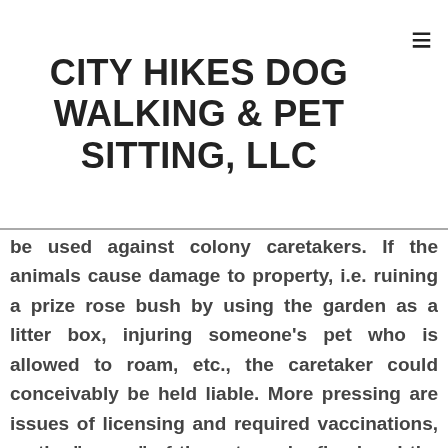CITY HIKES DOG WALKING & PET SITTING, LLC
be used against colony caretakers. If the animals cause damage to property, i.e. ruining a prize rose bush by using the garden as a litter box, injuring someone's pet who is allowed to roam, etc., the caretaker could conceivably be held liable. More pressing are issues of licensing and required vaccinations, as the "owner" of the cat can be fined and the cats confiscated by animal control if these are not current. Licensing, Required Vaccinations, "Leash" Laws and Pet LimitsAt a minimum, most areas require companion animals be vaccinated for rabies. While this is generally done at the time of spay/neuter for TNR (Trap, Neuter, Return), yearly boosters are not always possible, which